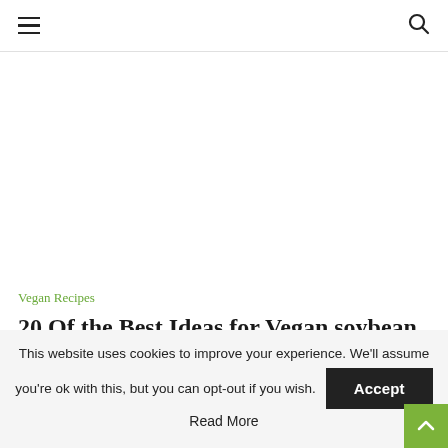≡  🔍
[Figure (photo): Blank white image placeholder area for article featured image]
Vegan Recipes
20 Of the Best Ideas for Vegan soybean Recipes
written by Admin
This website uses cookies to improve your experience. We'll assume you're ok with this, but you can opt-out if you wish.
Accept
Read More